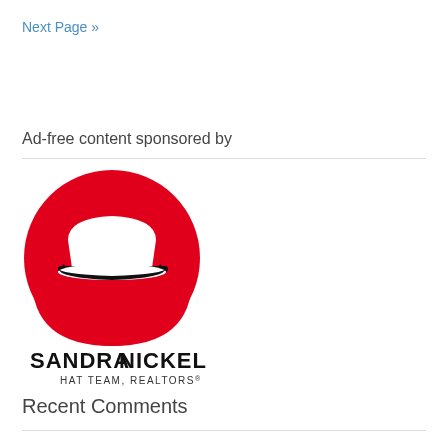Next Page »
Ad-free content sponsored by
[Figure (logo): Sandra Nickel Hat Team Realtors logo — a red circle with a white fedora hat silhouette and a black brim band, with text SANDRANICKEL HAT TEAM, REALTORS below]
Recent Comments